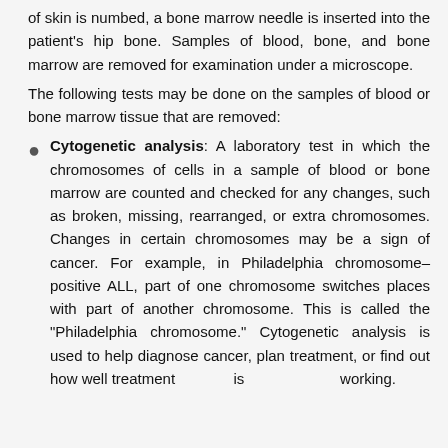of skin is numbed, a bone marrow needle is inserted into the patient's hip bone. Samples of blood, bone, and bone marrow are removed for examination under a microscope.
The following tests may be done on the samples of blood or bone marrow tissue that are removed:
Cytogenetic analysis: A laboratory test in which the chromosomes of cells in a sample of blood or bone marrow are counted and checked for any changes, such as broken, missing, rearranged, or extra chromosomes. Changes in certain chromosomes may be a sign of cancer. For example, in Philadelphia chromosome–positive ALL, part of one chromosome switches places with part of another chromosome. This is called the "Philadelphia chromosome." Cytogenetic analysis is used to help diagnose cancer, plan treatment, or find out how well treatment is working.